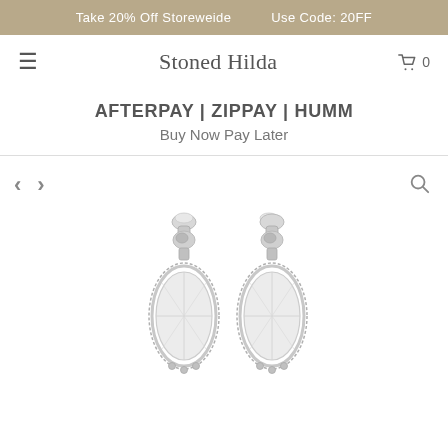Take 20% Off Storeweide   Use Code: 20FF
Stoned Hilda
AFTERPAY | ZIPPAY | HUMM
Buy Now Pay Later
[Figure (photo): Two silver drop earrings featuring a gemstone set in an ornate silver Bali-style setting with rope detail, photographed on a white background.]